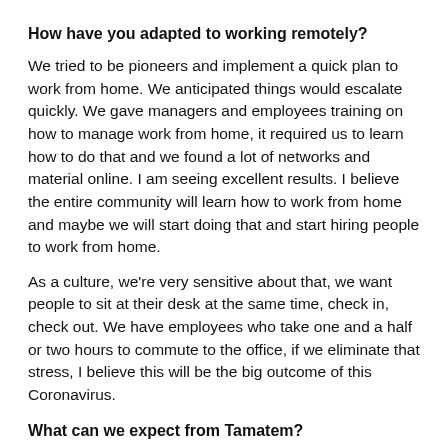How have you adapted to working remotely?
We tried to be pioneers and implement a quick plan to work from home. We anticipated things would escalate quickly. We gave managers and employees training on how to manage work from home, it required us to learn how to do that and we found a lot of networks and material online. I am seeing excellent results. I believe the entire community will learn how to work from home and maybe we will start doing that and start hiring people to work from home.
As a culture, we're very sensitive about that, we want people to sit at their desk at the same time, check in, check out. We have employees who take one and a half or two hours to commute to the office, if we eliminate that stress, I believe this will be the big outcome of this Coronavirus.
What can we expect from Tamatem?